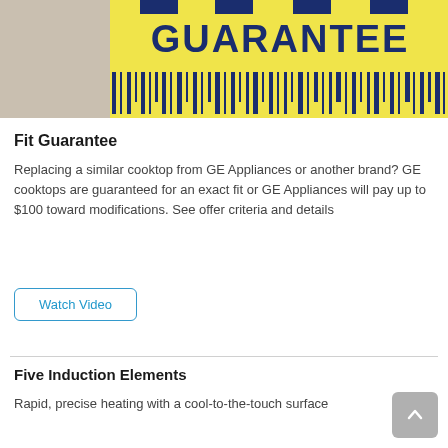[Figure (illustration): Yellow banner with dark blue bold text reading 'GUARANTEE' and a barcode-like pattern along the bottom, partially obscured by a gray/beige rectangle on the left side.]
Fit Guarantee
Replacing a similar cooktop from GE Appliances or another brand? GE cooktops are guaranteed for an exact fit or GE Appliances will pay up to $100 toward modifications. See offer criteria and details
Watch Video
Five Induction Elements
Rapid, precise heating with a cool-to-the-touch surface